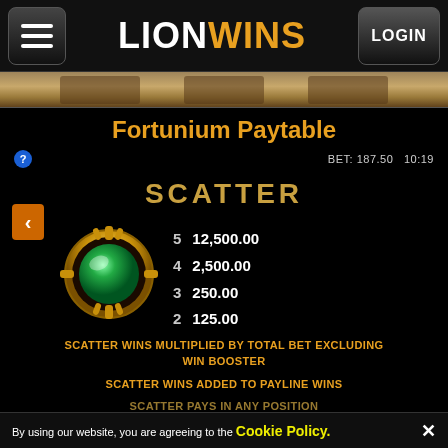LION WINS
[Figure (screenshot): Game background screenshot strip showing slot machine reels]
Fortunium Paytable
BET: 187.50   10:19
SCATTER
[Figure (illustration): Gold-framed green gem orb scatter symbol]
| Count | Payout |
| --- | --- |
| 5 | 12,500.00 |
| 4 | 2,500.00 |
| 3 | 250.00 |
| 2 | 125.00 |
SCATTER WINS MULTIPLIED BY TOTAL BET EXCLUDING WIN BOOSTER
SCATTER WINS ADDED TO PAYLINE WINS
SCATTER PAYS IN ANY POSITION
By using our website, you are agreeing to the Cookie Policy.